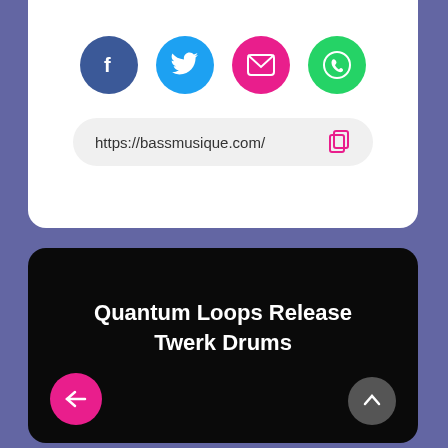[Figure (screenshot): Social share icons: Facebook (blue circle), Twitter (cyan circle), Email (pink circle), WhatsApp (green circle)]
https://bassmusique.com/
Quantum Loops Release Twerk Drums
[Figure (infographic): Navigation buttons: left arrow (pink) and up arrow (grey)]